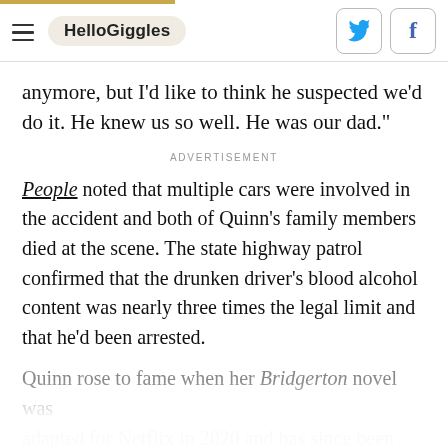HelloGiggles
anymore, but I'd like to think he suspected we'd do it. He knew us so well. He was our dad."
ADVERTISEMENT
People noted that multiple cars were involved in the accident and both of Quinn's family members died at the scene. The state highway patrol confirmed that the drunken driver's blood alcohol content was nearly three times the legal limit and that he'd been arrested.
Quinn rose to fame when her Bridgerton novel was adapted for Netflix in 2020 and has since been